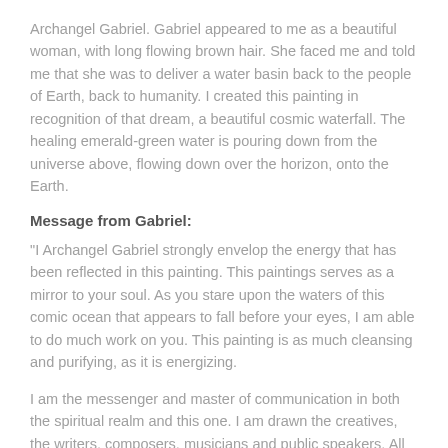Archangel Gabriel. Gabriel appeared to me as a beautiful woman, with long flowing brown hair. She faced me and told me that she was to deliver a water basin back to the people of Earth, back to humanity. I created this painting in recognition of that dream, a beautiful cosmic waterfall. The healing emerald-green water is pouring down from the universe above, flowing down over the horizon, onto the Earth.
Message from Gabriel:
"I Archangel Gabriel strongly envelop the energy that has been reflected in this painting. This paintings serves as a mirror to your soul. As you stare upon the waters of this comic ocean that appears to fall before your eyes, I am able to do much work on you. This painting is as much cleansing and purifying, as it is energizing.
I am the messenger and master of communication in both the spiritual realm and this one. I am drawn the creatives, the writers, composers, musicians and public speakers. All of